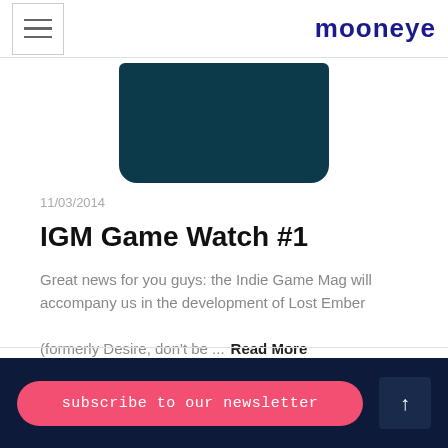mooneye
[Figure (illustration): Dark teal/navy rounded rectangle image block, cropped at top]
11/03/2014
IGM Game Watch #1
Great news for you guys: the Indie Game Mag will accompany us in the development of Lost Ember (formerly Desire, don't be ... Read More
← 1 2 3 4 5
subscribe to our newsletter